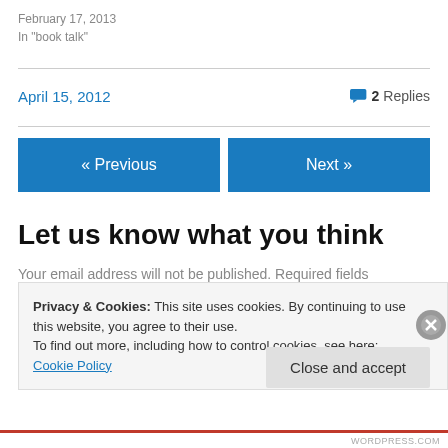February 17, 2013
In "book talk"
April 15, 2012
2 Replies
« Previous
Next »
Let us know what you think
Your email address will not be published. Required fields
Privacy & Cookies: This site uses cookies. By continuing to use this website, you agree to their use.
To find out more, including how to control cookies, see here: Cookie Policy
Close and accept